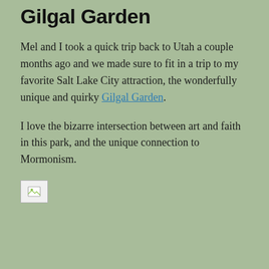Gilgal Garden
Mel and I took a quick trip back to Utah a couple months ago and we made sure to fit in a trip to my favorite Salt Lake City attraction, the wonderfully unique and quirky Gilgal Garden.
I love the bizarre intersection between art and faith in this park, and the unique connection to Mormonism.
[Figure (photo): A photo placeholder (broken image icon) representing an image from Gilgal Garden]